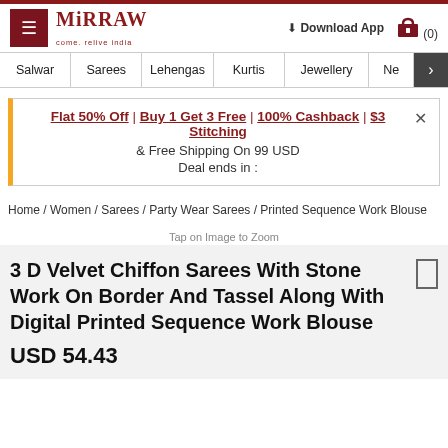Mirraw - Come, relive India | Download App | (0)
Salwar | Sarees | Lehengas | Kurtis | Jewellery | Ne >
Flat 50% Off | Buy 1 Get 3 Free | 100% Cashback | $3 Stitching & Free Shipping On 99 USD Deal ends in :
Home / Women / Sarees / Party Wear Sarees / Printed Sequence Work Blouse
Tap on Image to Zoom
3 D Velvet Chiffon Sarees With Stone Work On Border And Tassel Along With Digital Printed Sequence Work Blouse
USD 54.43